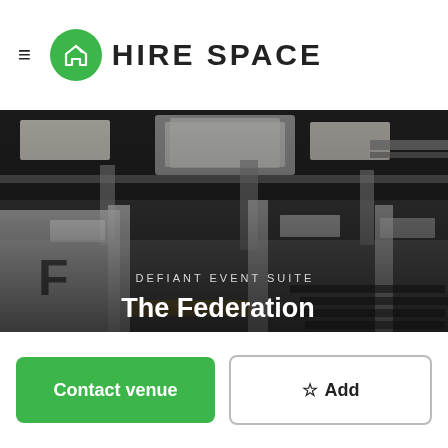HIRE SPACE
[Figure (photo): Interior of The Federation venue — a large industrial-style event space with exposed ceiling ducts, concrete pillars, flat-panel ceiling lights, rows of chairs visible in the background, and a white wall with large letter F on the left. Text overlaid: 'DEFIANT EVENT SUITE' and 'The Federation'.]
DEFIANT EVENT SUITE
The Federation
Contact venue
☆ Add